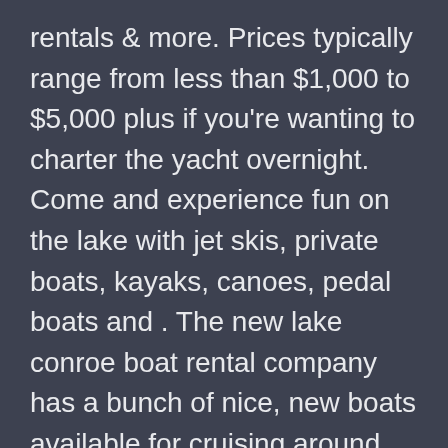rentals & more. Prices typically range from less than $1,000 to $5,000 plus if you're wanting to charter the yacht overnight. Come and experience fun on the lake with jet skis, private boats, kayaks, canoes, pedal boats and . The new lake conroe boat rental company has a bunch of nice, new boats available for cruising around lake conroe in montgomery county texas. 15264 hwy 105w montgomery, texas 77356. Waterpoint marina rents ski boats, pontoon party boats, and party barges. We offer a classy yacht charter experience and lively party boat excursions.